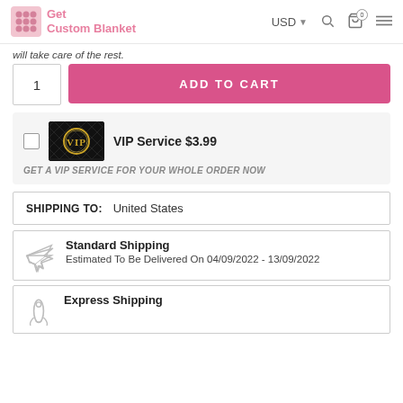Get Custom Blanket | USD | Search | Cart (0) | Menu
will take care of the rest.
1  ADD TO CART
[Figure (screenshot): VIP badge image on dark quilted background with gold text]
VIP Service $3.99
GET A VIP SERVICE FOR YOUR WHOLE ORDER NOW
| SHIPPING TO: | United States |
| --- | --- |
Standard Shipping
Estimated To Be Delivered On 04/09/2022 - 13/09/2022
Express Shipping